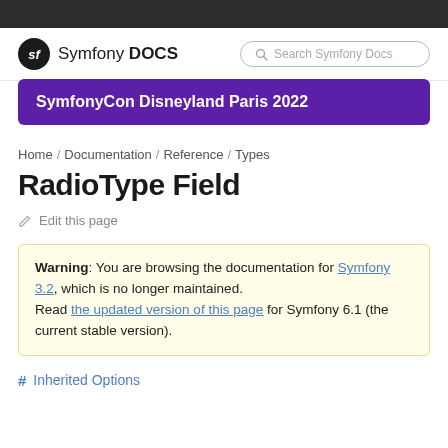Symfony DOCS
SymfonyCon Disneyland Paris 2022
Home / Documentation / Reference / Types
RadioType Field
Edit this page
Warning: You are browsing the documentation for Symfony 3.2, which is no longer maintained. Read the updated version of this page for Symfony 6.1 (the current stable version).
Inherited Options